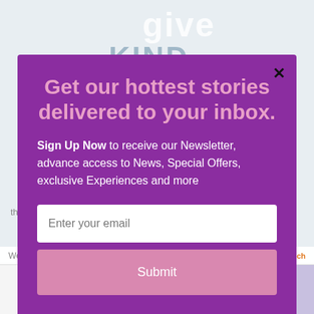[Figure (screenshot): Background webpage showing 'give' and 'KIND' text over a light blue image, with 'tasting challenge' text partially visible behind modal]
Get our hottest stories delivered to your inbox.
Sign Up Now to receive our Newsletter, advance access to News, Special Offers, exclusive Experiences and more
Enter your email
Submit
We'll assume you're ok with this, but you can opt-out if
powered by MailMunch